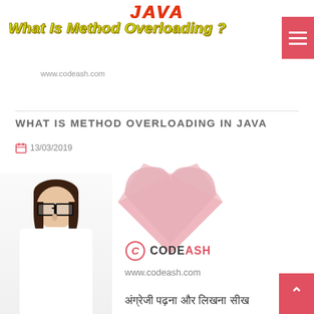JAVA
What Is Method Overloading ?
www.codeash.com
WHAT IS METHOD OVERLOADING IN JAVA
13/03/2019
[Figure (illustration): Pink/salmon heart shape watermark in center of page]
[Figure (photo): Woman with glasses and long hair smiling, wearing white top, shown from waist up on left side of page]
[Figure (logo): Codeash logo with stylized C icon and text CODE in dark, ASH in red]
www.codeash.com
अंग्रेजी पढ़ना और लिखना सीख